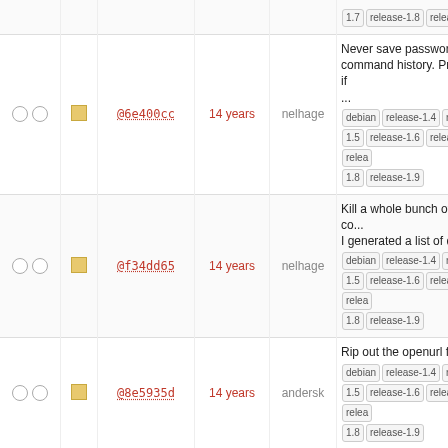|  |  | hash | age | author | message |
| --- | --- | --- | --- | --- | --- |
| ○ ○ | □ | @6e400cc | 14 years | nelhage | Never save passwords in the command history. Previously, if ... debian release-1.4 release-1.5 release-1.6 release-1.7 release-1.8 release-1.9 |
| ○ ○ | □ | @f34dd65 | 14 years | nelhage | Kill a whole bunch of unused co... I generated a list of dead ... debian release-1.4 release-1.5 release-1.6 release-1.7 release-1.8 release-1.9 |
| ○ ○ | □ | @8e5935d | 14 years | andersk | Rip out the openurl function. debian release-1.4 release-1.5 release-1.6 release-1.7 release-1.8 release-1.9 |
| ○ ○ | □ | @2b237308 | 14 years | andersk | Delete extra format string arguments. debian release-1.4 release-1.5 release-1.6 release-1.7 release-1.8 release-1.9 |
| ○ ○ | □ | @554a2b8 | 14 years | andersk | Fix format string injection bugs. debian release-1.4 release-1.5 release-1.6 release-1.7 release-1.8 release-1.9 |
| ○ ○ | □ | @2209f16 | 14 years | nelhage | Make 'version' return "BarnOwl" instead of "Owl" debian release-1.4 release-1.5 release-1.6 release-1.7 release-1.8 release-1.9 |
| ○ ○ | □ | @799b60e | 14 years | geofft | Add the :show quickstart command. In an effort to make barnowl more ... debian release-1.4 release-1.5 release-1.6 release-1.7 release-1.8 release-1.9 |